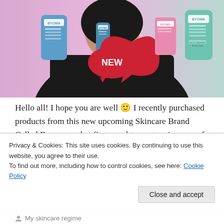[Figure (photo): A person in a black shirt holding multiple BYOMA skincare products against a pink/purple background. Products include blue, pink, and teal/green bottles and boxes. A red speech bubble with white 'NEW' text is visible in the center.]
Hello all! I hope you are well 🙂 I recently purchased products from this new upcoming Skincare Brand Called Byoma – what first caught my attention was of course the colourful packaging; but when checking them out; I appreciated that their ingredients were listed all on the back, in order of
Privacy & Cookies: This site uses cookies. By continuing to use this website, you agree to their use.
To find out more, including how to control cookies, see here: Cookie Policy
Close and accept
My skincare regime